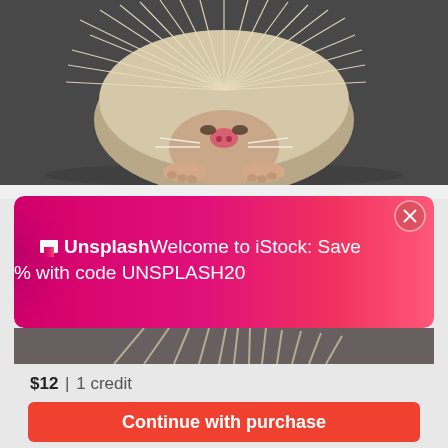[Figure (photo): Close-up photo of a baby hedgehog on a dark gray surface, with white spines and pink face/paws]
[Figure (infographic): Pink/magenta promotional banner overlay with Unsplash logo and iStock discount message]
$12 | 1 credit
Continue with purchase